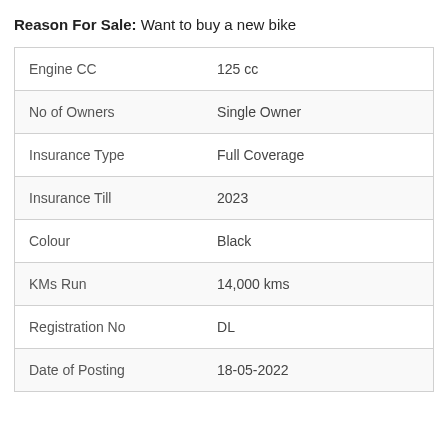Reason For Sale: Want to buy a new bike
| Field | Value |
| --- | --- |
| Engine CC | 125 cc |
| No of Owners | Single Owner |
| Insurance Type | Full Coverage |
| Insurance Till | 2023 |
| Colour | Black |
| KMs Run | 14,000 kms |
| Registration No | DL |
| Date of Posting | 18-05-2022 |